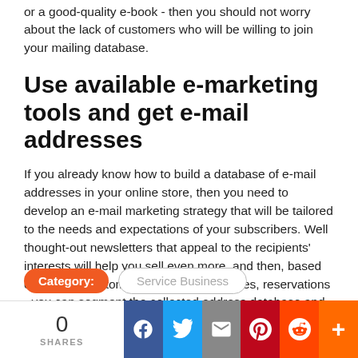or a good-quality e-book - then you should not worry about the lack of customers who will be willing to join your mailing database.
Use available e-marketing tools and get e-mail addresses
If you already know how to build a database of e-mail addresses in your online store, then you need to develop an e-mail marketing strategy that will be tailored to the needs and expectations of your subscribers. Well thought-out newsletters that appeal to the recipients' interests will help you sell even more, and then, based on specific customer activities - purchases, reservations - you can segment the collected address database and direct even more personalized messages to these groups.
0 SHARES | Facebook | Twitter | Email | Pinterest | Reddit | More